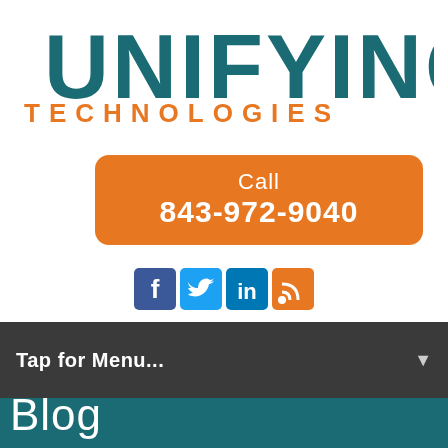[Figure (logo): Unifying Technologies logo — 'UNIFYING' in large dark teal bold uppercase letters, 'TECHNOLOGIES' in orange bold uppercase letters below]
[Figure (infographic): Orange rounded rectangle call-to-action button with text 'Call' and phone number '843-972-9040' in white]
[Figure (infographic): Row of four social media icons: Facebook (dark blue), Twitter (light blue), LinkedIn (blue), RSS (orange)]
Tap for Menu...
Blog